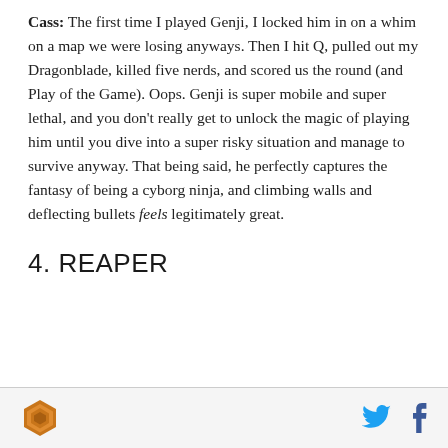Cass: The first time I played Genji, I locked him in on a whim on a map we were losing anyways. Then I hit Q, pulled out my Dragonblade, killed five nerds, and scored us the round (and Play of the Game). Oops. Genji is super mobile and super lethal, and you don't really get to unlock the magic of playing him until you dive into a super risky situation and manage to survive anyway. That being said, he perfectly captures the fantasy of being a cyborg ninja, and climbing walls and deflecting bullets feels legitimately great.
4. REAPER
[logo] [twitter] [facebook]